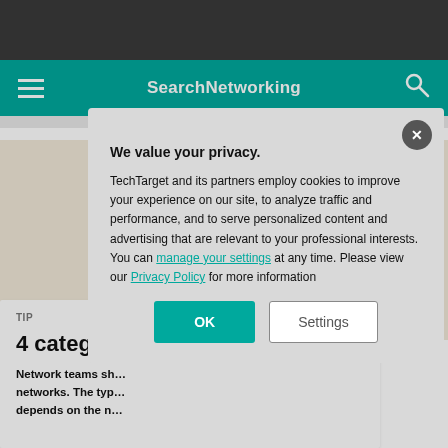SearchNetworking
[Figure (screenshot): Hero image showing network folder icons and computer illustrations on a beige background]
GETTY IMAGES
TIP
4 categories…
Network teams sh… networks. The typ… depends on the n…
We value your privacy.
TechTarget and its partners employ cookies to improve your experience on our site, to analyze traffic and performance, and to serve personalized content and advertising that are relevant to your professional interests. You can manage your settings at any time. Please view our Privacy Policy for more information